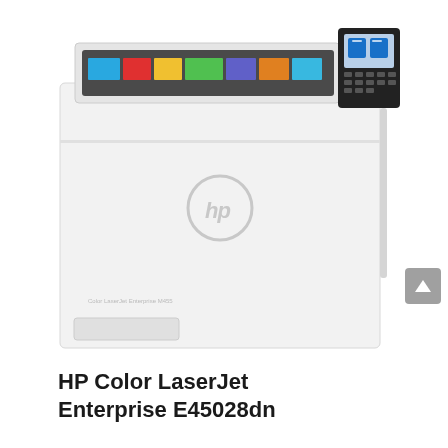[Figure (photo): Photo of an HP Color LaserJet Enterprise printer (white, with colorful paper tray at top and control panel display on the right side of the top)]
HP Color LaserJet Enterprise E45028dn